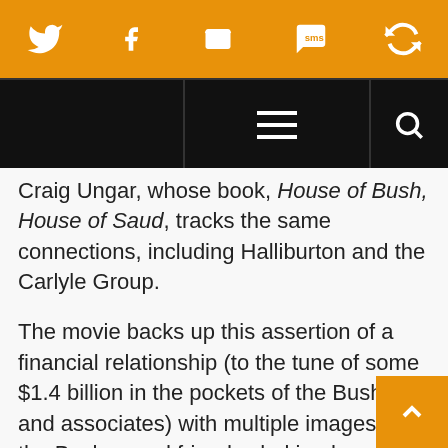[Social share bar: Twitter, Facebook, Email, SMS, Share icons]
[Figure (screenshot): Black navigation bar with hamburger menu icon and search icon]
Craig Ungar, whose book, House of Bush, House of Saud, tracks the same connections, including Halliburton and the Carlyle Group.
The movie backs up this assertion of a financial relationship (to the tune of some $1.4 billion in the pockets of the Bushes and associates) with multiple images of the Bushes and friends shaking hands with various Saudis, under REM’s “Shiny Happy People” (holding hands). Equally redu[ctive] is the film’s introduction of the war in Afghanistan